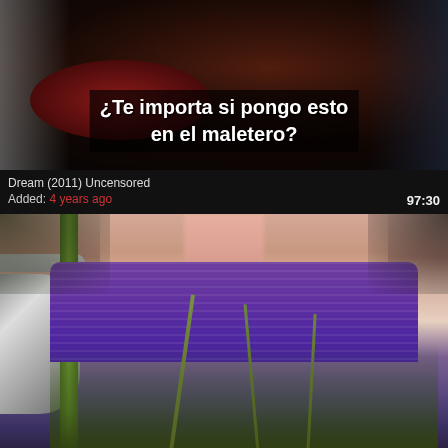[Figure (screenshot): Video thumbnail showing a dark workshop/garage scene with a person and machinery. Spanish subtitle reads '¿Te importa si pongo esto en el maletero?']
Dream (2011) Uncensored
Added: 4 years ago
97:30